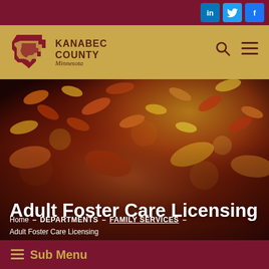Kanabec County Minnesota - Social: LinkedIn, Twitter, Facebook
[Figure (logo): Kanabec County Minnesota logo with Minnesota state shape and county name]
[Figure (photo): Autumn fallen leaves on the ground, blurred bokeh background, warm orange and red tones]
Adult Foster Care Licensing
Home - DEPARTMENTS - FAMILY SERVICES - Adult Foster Care Licensing
≡ Sub Menu